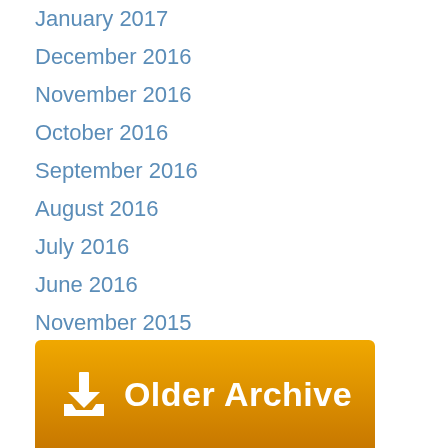January 2017
December 2016
November 2016
October 2016
September 2016
August 2016
July 2016
June 2016
November 2015
[Figure (illustration): Golden/orange gradient banner button with a white download icon and bold white text reading 'Older Archive']